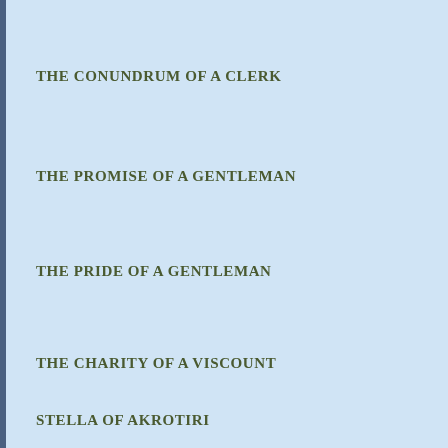THE CONUNDRUM OF A CLERK
THE PROMISE OF A GENTLEMAN
THE PRIDE OF A GENTLEMAN
THE CHARITY OF A VISCOUNT
STELLA OF AKROTIRI